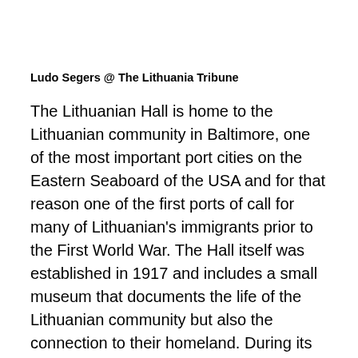Ludo Segers @ The Lithuania Tribune
The Lithuanian Hall is home to the Lithuanian community in Baltimore, one of the most important port cities on the Eastern Seaboard of the USA and for that reason one of the first ports of call for many of Lithuanian's immigrants prior to the First World War. The Hall itself was established in 1917 and includes a small museum that documents the life of the Lithuanian community but also the connection to their homeland. During its history it saw a number of important visitors that included the famous aviators Steponas Darius and Stasys Girėnas who came to the Hall during their fund